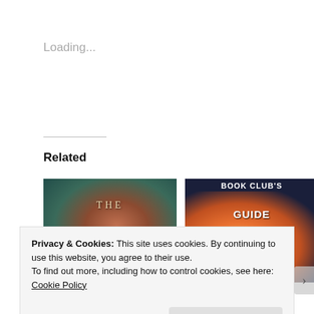Loading...
Related
[Figure (photo): Book cover: THE QUEEN'S - dark teal background with woman's face]
[Figure (photo): Book cover: BOOK CLUB'S GUIDE TO SLAYING - dark background with peaches illustration]
Privacy & Cookies: This site uses cookies. By continuing to use this website, you agree to their use.
To find out more, including how to control cookies, see here:
Cookie Policy
Close and accept